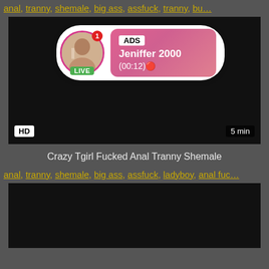anal, tranny, shemale, big ass, ass, assfuck, tranny, bu...
[Figure (screenshot): Black video thumbnail with HD badge bottom-left and '5 min' duration badge bottom-right. An ad overlay at the top shows a circular avatar with pink ring and LIVE badge, a red notification dot with '1', and a pink gradient info box labeled 'ADS' with name 'Jeniffer 2000' and time '(00:12)'.]
Crazy Tgirl Fucked Anal Tranny Shemale
anal, tranny, shemale, big ass, assfuck, ladyboy, anal fuc...
[Figure (screenshot): Black video thumbnail, second video.]